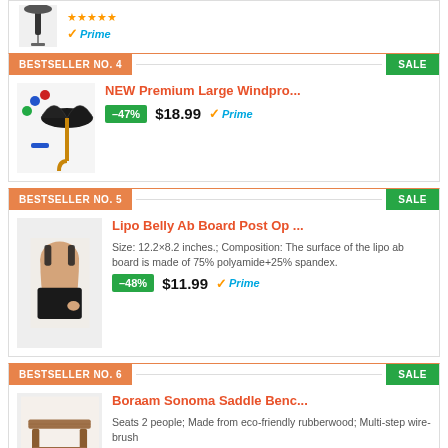[Figure (photo): Top stub: product image (umbrella stand) with Prime logo]
BESTSELLER NO. 4 | SALE
NEW Premium Large Windpro...
-47%  $18.99  Prime
BESTSELLER NO. 5 | SALE
Lipo Belly Ab Board Post Op ...
Size: 12.2×8.2 inches.; Composition: The surface of the lipo ab board is made of 75% polyamide+25% spandex.
-48%  $11.99  Prime
BESTSELLER NO. 6 | SALE
Boraam Sonoma Saddle Benc...
Seats 2 people; Made from eco-friendly rubberwood; Multi-step wire-brush